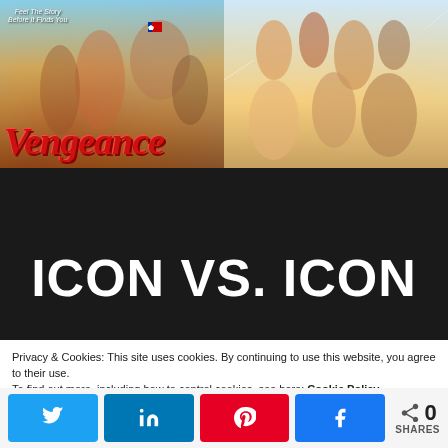[Figure (photo): Two movie posters side by side: left is 'Vengeance' with red italic title text over a collage of characters against a sky background; right is another film poster with cartoon/illustrated characters in colorful action poses.]
ICON VS. ICON
ABOUT US   CELEBRITY INTERVIEWS   POP CULTURE NEWS
Privacy & Cookies: This site uses cookies. By continuing to use this website, you agree to their use.
To find out more, including how to control cookies, see here: Cookie Policy
0 SHARES